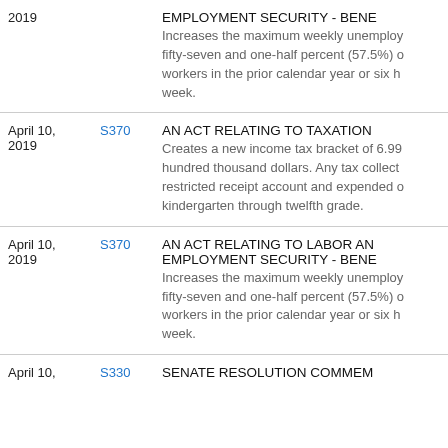| Date | Bill | Title/Description |
| --- | --- | --- |
| 2019 |  | EMPLOYMENT SECURITY - BEN...
Increases the maximum weekly unemploy... fifty-seven and one-half percent (57.5%) ... workers in the prior calendar year or six h... week. |
| April 10, 2019 | S370 | AN ACT RELATING TO TAXATION...
Creates a new income tax bracket of 6.99... hundred thousand dollars. Any tax collect... restricted receipt account and expended ... kindergarten through twelfth grade. |
| April 10, 2019 | S370 | AN ACT RELATING TO LABOR AN... EMPLOYMENT SECURITY - BEN...
Increases the maximum weekly unemploy... fifty-seven and one-half percent (57.5%) ... workers in the prior calendar year or six h... week. |
| April 10, 2019 | S330 | SENATE RESOLUTION COMMEM... |